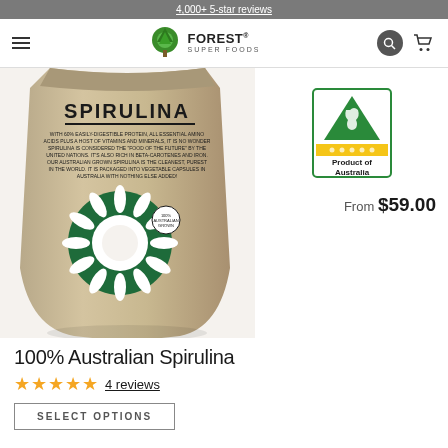4,000+ 5-star reviews
[Figure (logo): Forest Super Foods logo with green tree icon and text FOREST SUPER FOODS]
[Figure (photo): Kraft paper pouch of 100% Australian Spirulina with green sun/flower logo, product description text on front, and Product of Australia badge]
100% Australian Spirulina
★★★★★  4 reviews
From $59.00
SELECT OPTIONS